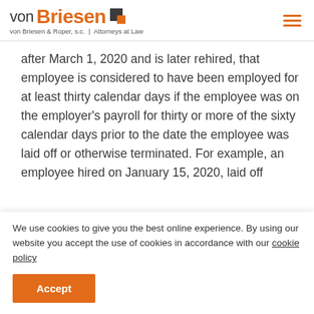von Briesen | von Briesen & Roper, s.c. | Attorneys at Law
after March 1, 2020 and is later rehired, that employee is considered to have been employed for at least thirty calendar days if the employee was on the employer's payroll for thirty or more of the sixty calendar days prior to the date the employee was laid off or otherwise terminated. For example, an employee hired on January 15, 2020, laid off
We use cookies to give you the best online experience. By using our website you accept the use of cookies in accordance with our cookie policy
Accept